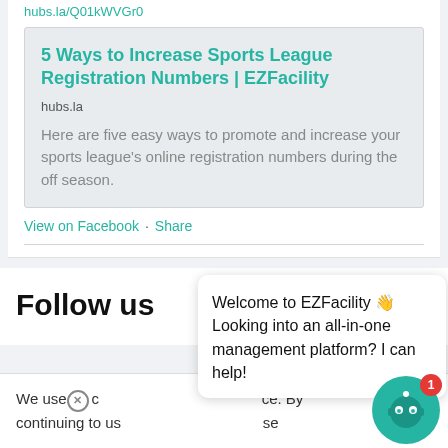hubs.la/Q01kWVGr0
5 Ways to Increase Sports League Registration Numbers | EZFacility
hubs.la
Here are five easy ways to promote and increase your sports league's online registration numbers during the off season.
View on Facebook · Share
Follow us
We use cookies to improve your experience. By continuing to use our site, you consent to the use of cookies.
Welcome to EZFacility 👋 Looking into an all-in-one management platform? I can help!